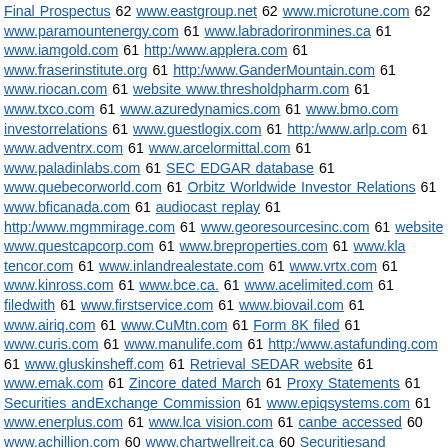Final Prospectus 62 www.eastgroup.net 62 www.microtune.com 62 www.paramountenergy.com 61 www.laborironimine.ca 61 www.iamgold.com 61 http:/www.applera.com 61 www.fraserinstitute.org 61 http:/www.GanderMountain.com 61 www.riocan.com 61 website www.thresholdpharm.com 61 www.txco.com 61 www.azuredynamics.com 61 www.bmo.com investorrelations 61 www.guestlogix.com 61 http:/www.arlp.com 61 www.adventrx.com 61 www.arcelormittal.com 61 www.paladinlabs.com 61 SEC EDGAR database 61 www.quebecorworld.com 61 Orbitz Worldwide Investor Relations 61 www.bficanada.com 61 audiocast replay 61 http:/www.mgmmirage.com 61 www.georesourcesinc.com 61 website www.questcapcorp.com 61 www.breproperties.com 61 www.kla tencor.com 61 www.inlandrealestate.com 61 www.vrtx.com 61 www.kinross.com 61 www.bce.ca. 61 www.acelimited.com 61 filedwith 61 www.firstservice.com 61 www.biovail.com 61 www.airiq.com 61 www.CuMtn.com 61 Form 8K filed 61 www.curis.com 61 www.manulife.com 61 http:/www.astafunding.com 61 www.gluskinsheff.com 61 Retrieval SEDAR website 61 www.emak.com 61 Zincore dated March 61 Proxy Statements 61 Securities andExchange Commission 61 www.epiqsystems.com 61 www.enerplus.com 61 www.lca vision.com 61 canbe accessed 60 www.achillion.com 60 www.chartwellreit.ca 60 Securitiesand Exchange Commission 60 www.goldreserveinc.com 60 www.speedwaymotorsports.com 60 www.ccc.tw.com 60 www.carehouse.com 60 Company website